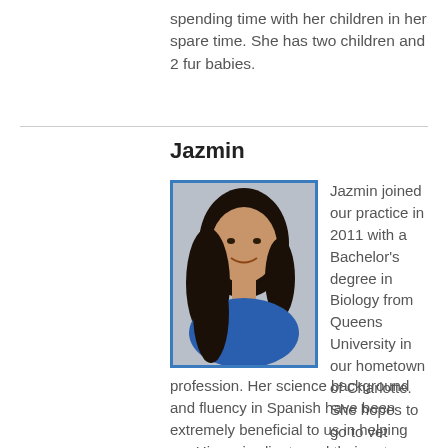spending time with her children in her spare time. She has two children and 2 fur babies.
Jazmin
[Figure (photo): Headshot photo of Jazmin, a young woman with long dark hair wearing a blue top, with a blue border frame.]
Jazmin joined our practice in 2011 with a Bachelor's degree in Biology from Queens University in our hometown of Charlotte. She hopes to go to vet school soon and will be a great asset to the profession. Her science background and fluency in Spanish have been extremely beneficial to us in helping our Hispanic clients and their pets. She has a love of all animals, especially the exotics.